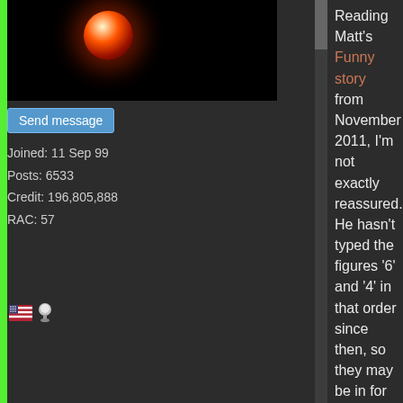[Figure (photo): Dark avatar image with a red glowing orb/light on black background]
Send message
Joined: 11 Sep 99
Posts: 6533
Credit: 196,805,888
RAC: 57
[Figure (illustration): US flag emoji and trophy/silver ball emoji]
Reading Matt's Funny story from November 2011, I'm not exactly reassured. He hasn't typed the figures '6' and '4' in that order since then, so they may be in for a surprise. I think I feel an email coming on...
It's only been about 4 years. I'm sure it's in the "to do" pile.
SETI@home classic workunits: 93,865 CPU time: 863,447 hours
Join the BP6/VP6 User Group today!